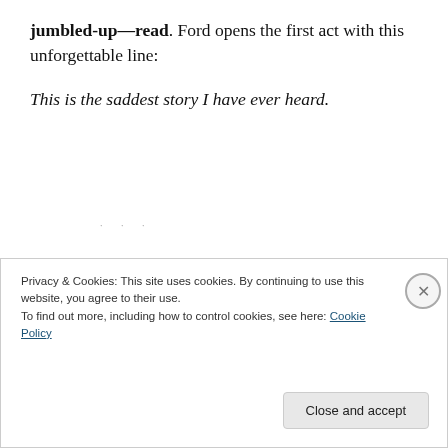jumbled-up—read. Ford opens the first act with this unforgettable line:
This is the saddest story I have ever heard.
And even if, like me, you never quite find yourself invested enough in The Good Soldier to actually feel sad, we can all agree the events of the novel are sad. Ford, in fact,
Privacy & Cookies: This site uses cookies. By continuing to use this website, you agree to their use.
To find out more, including how to control cookies, see here: Cookie Policy